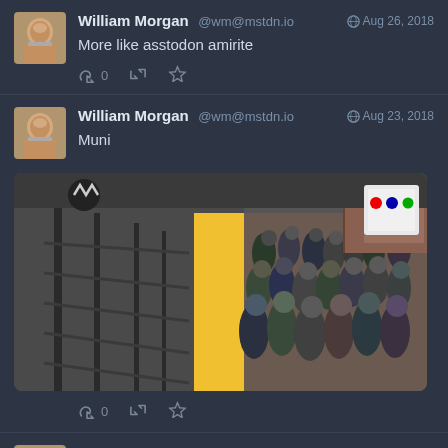William Morgan @wm@mstdn.io  Aug 26, 2018
More like asstodon amirite
William Morgan @wm@mstdn.io  Aug 23, 2018
Muni
[Figure (photo): Overhead view of a crowded subway/metro station platform (Muni) with train tracks visible on the left and a large crowd of commuters waiting on the yellow-edged platform on the right.]
William Morgan @wm@mstdn.io  Aug 22, 2018